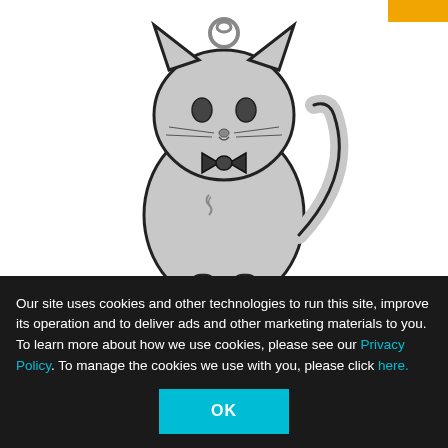[Figure (photo): Gray cartoon cat keychain pin sitting upright, with a bow tie and curly markings, on a white background]
SALE
Haikyu!! - Kuroo Cat Keychain
$3.58  $9.95
Our site uses cookies and other technologies to run this site, improve its operation and to deliver ads and other marketing materials to you. To learn more about how we use cookies, please see our Privacy Policy. To manage the cookies we use with you, please click here.